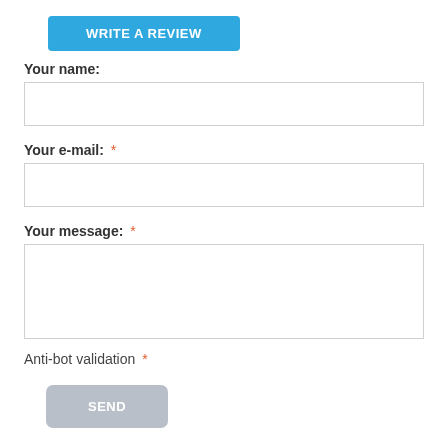[Figure (other): Blue 'WRITE A REVIEW' button]
Your name:
[Figure (other): Empty text input field for name]
Your e-mail: *
[Figure (other): Empty text input field for e-mail]
Your message: *
[Figure (other): Empty textarea for message]
Anti-bot validation *
[Figure (other): Gray 'SEND' button]